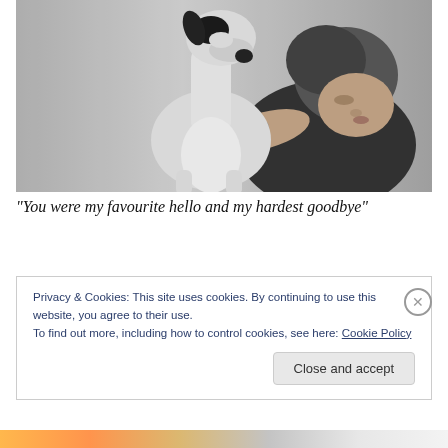[Figure (photo): Black and white photograph of a woman hugging a greyhound dog, cheek to cheek, in a studio setting.]
“You were my favourite hello and my hardest goodbye”
Privacy & Cookies: This site uses cookies. By continuing to use this website, you agree to their use.
To find out more, including how to control cookies, see here: Cookie Policy